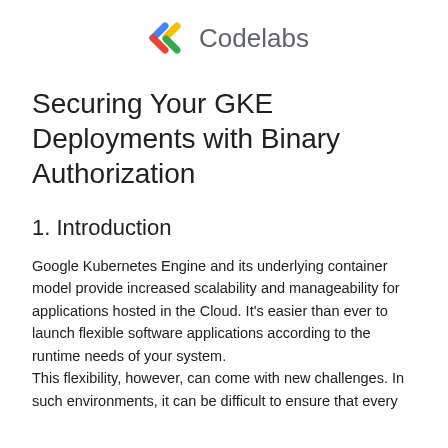[Figure (logo): Google Codelabs logo — two angled bracket chevrons in Google colors (blue, red, yellow, green) followed by the word Codelabs in gray sans-serif]
Securing Your GKE Deployments with Binary Authorization
1. Introduction
Google Kubernetes Engine and its underlying container model provide increased scalability and manageability for applications hosted in the Cloud. It's easier than ever to launch flexible software applications according to the runtime needs of your system.
This flexibility, however, can come with new challenges. In such environments, it can be difficult to ensure that every